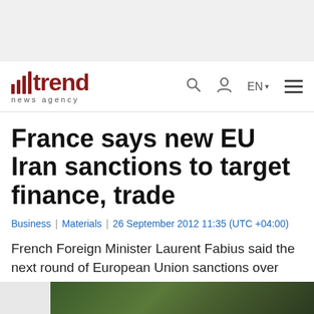trend news agency
France says new EU Iran sanctions to target finance, trade
Business | Materials | 26 September 2012 11:35 (UTC +04:00)
French Foreign Minister Laurent Fabius said the next round of European Union sanctions over Iran's nuclear program would focus on the financial industry and trade.
[Figure (photo): Partial photo visible at bottom of page, appears to show a person outdoors]